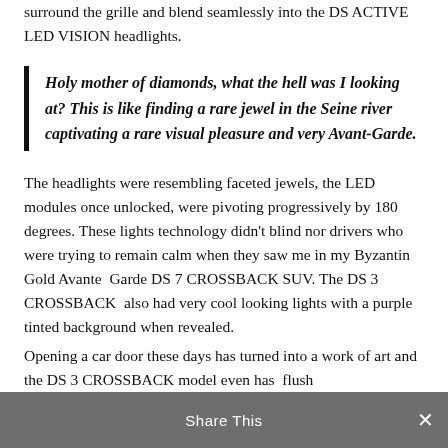surround the grille and blend seamlessly into the DS ACTIVE LED VISION headlights.
Holy mother of diamonds, what the hell was I looking at? This is like finding a rare jewel in the Seine river captivating a rare visual pleasure and very Avant-Garde.
The headlights were resembling faceted jewels, the LED modules once unlocked, were pivoting progressively by 180 degrees. These lights technology didn't blind nor drivers who were trying to remain calm when they saw me in my Byzantin Gold Avante  Garde DS 7 CROSSBACK SUV. The DS 3 CROSSBACK  also had very cool looking lights with a purple tinted background when revealed.
Opening a car door these days has turned into a work of art and the DS 3 CROSSBACK model even has  flush
Share This ×